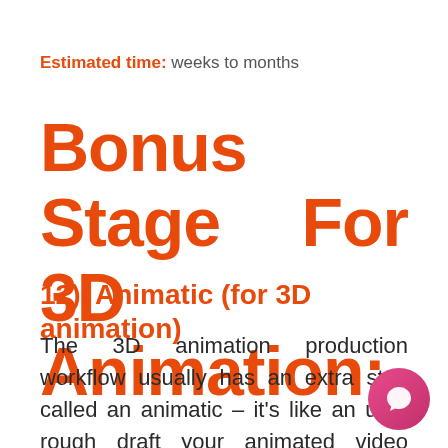Estimated time: weeks to months
Bonus Stage For 3D Animation:
12). Animatic (for 3D animation)
The 3D animation production workflow usually has an extra step called an animatic – it's like an ultra rough draft your animated video composed of st...